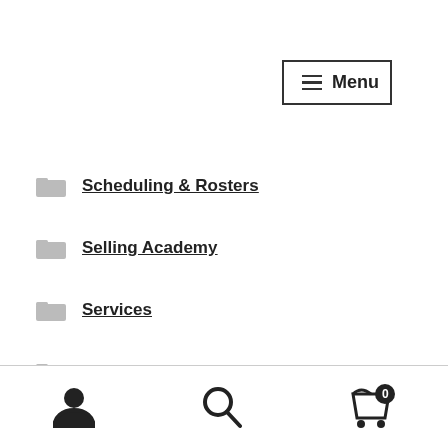[Figure (screenshot): Menu button with hamburger icon in top right corner]
Scheduling & Rosters
Selling Academy
Services
Side Hustle
Single Touch Payroll
Site Induction
Small Business
Small Business Finance Training Courses
Small Business Marketing Training Courses
User icon | Search icon | Cart icon with 0